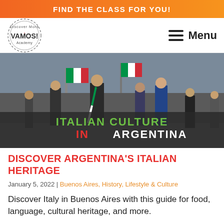FIND THE CLASS FOR YOU!
[Figure (logo): Vamos Academy circular logo with text 'Discover More ¡VAMOS! Academy']
Menu
[Figure (photo): Festival parade photo showing people in traditional Italian-Argentine clothing carrying Italian flags, with overlay text 'ITALIAN CULTURE IN ARGENTINA']
DISCOVER ARGENTINA'S ITALIAN HERITAGE
January 5, 2022 | Buenos Aires, History, Lifestyle & Culture
Discover Italy in Buenos Aires with this guide for food, language, cultural heritage, and more.